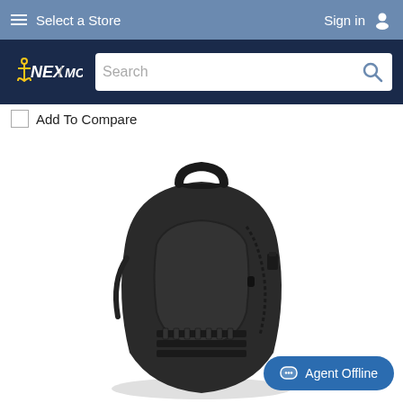Select a Store | Sign in
[Figure (logo): NEX / MCX logo with anchor icon on dark navy background, with search bar]
Add To Compare
[Figure (photo): Black tactical backpack with MOLLE webbing, top carry handle, side zipper pocket, and shoulder straps on white background]
Agent Offline